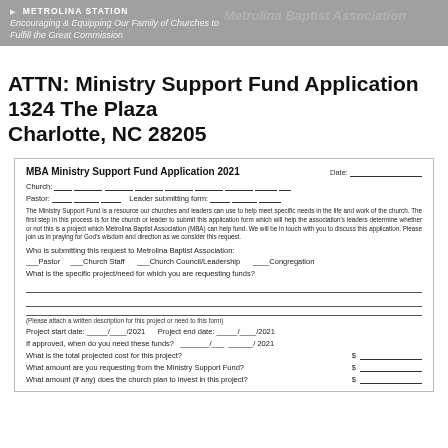Encouraging & Equipping Our Family of Churches to Fulfill the Great Commission
ATTN: Ministry Support Fund Application
1324 The Plaza
Charlotte, NC 28205
MBA Ministry Support Fund Application 2021
Church:
Pastor:    Leader submitting form:
The Ministry Support Fund is a resource our churches and leaders can use to help meet specific needs in the life and work of the church. The first step in this process is for the church or leader to submit this application form which will help the association's leaders determine whether or not this is a project which Metrolina Baptist Association (MBA) can help fund. We will be in touch with you to discuss this application. Please join us in praying for God's wisdom and direction as we consider this request.
Who is submitting this request to Metrolina Baptist Association:
___Pastor    ___Church Staff    ___Church Council/Leadership    ____Congregation
What is the specific project/need for which you are requesting funds?
(Please attach a written description for this project or need to this form)
Project start date: _____/____/2021    Project end date: _____/____/2021
If approved, when do you need these funds?  _______/___  ______/ 2021
What is the total projected cost for this project?   $
What amount are you requesting from the Ministry Support Fund?   $
What amount (if any) does the church plan to invest in this project?   $